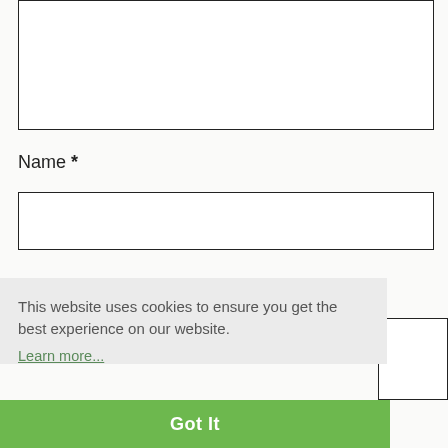[Figure (screenshot): Textarea input box (comment field), partially visible at top of page]
Name *
[Figure (screenshot): Name text input field box]
This website uses cookies to ensure you get the best experience on our website. Learn more...
Got It
Website